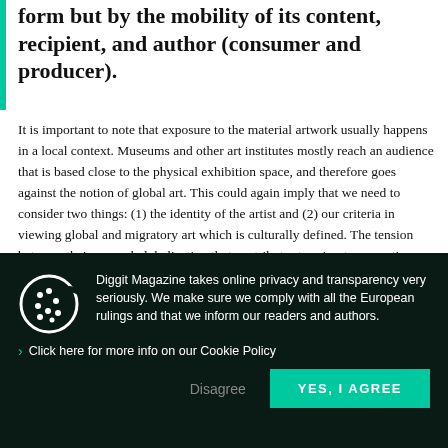form but by the mobility of its content, recipient, and author (consumer and producer).
It is important to note that exposure to the material artwork usually happens in a local context. Museums and other art institutes mostly reach an audience that is based close to the physical exhibition space, and therefore goes against the notion of global art. This could again imply that we need to consider two things: (1) the identity of the artist and (2) our criteria in viewing global and migratory art which is culturally defined. The tension between theincreased globalization that contributes to migratory practices and on the art belonging to a system that relies on physical and material qualities can be discussed by focusing on the virtual space. It could be
Diggit Magazine takes online privacy and transparency very seriously. We make sure we comply with all the European rulings and that we inform our readers and authors.
Click here for more info on our Cookie Policy
Disagree
YES, I AGREE